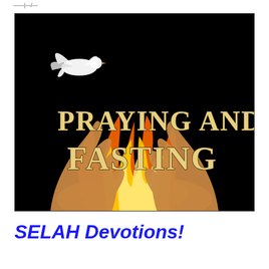——|—/—
[Figure (illustration): Religious devotional image on black background showing two raised hands with flames between them and a white dove flying above. Bold text overlay reads 'PRAYING AND FASTING' in gold/cream colored letters.]
SELAH Devotions!